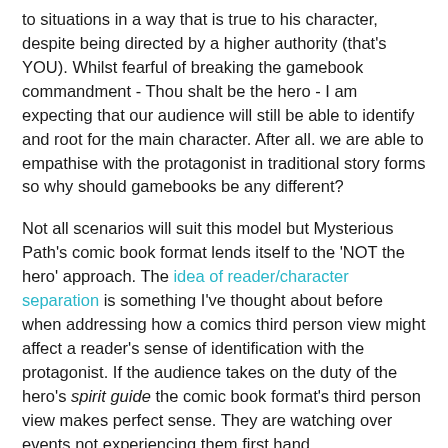to situations in a way that is true to his character, despite being directed by a higher authority (that's YOU). Whilst fearful of breaking the gamebook commandment - Thou shalt be the hero - I am expecting that our audience will still be able to identify and root for the main character. After all, we are able to empathise with the protagonist in traditional story forms so why should gamebooks be any different?
Not all scenarios will suit this model but Mysterious Path's comic book format lends itself to the 'NOT the hero' approach. The idea of reader/character separation is something I've thought about before when addressing how a comics third person view might affect a reader's sense of identification with the protagonist. If the audience takes on the duty of the hero's spirit guide the comic book format's third person view makes perfect sense. They are watching over events not experiencing them first hand.
Digital friends
By separating the reader and the protagonist we have created a new relationship. A realtionship between audience